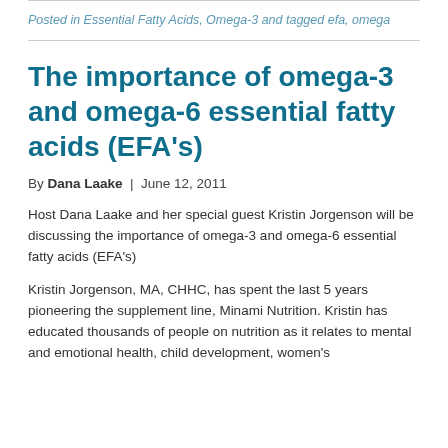Posted in Essential Fatty Acids, Omega-3 and tagged efa, omega
The importance of omega-3 and omega-6 essential fatty acids (EFA's)
By Dana Laake | June 12, 2011
Host Dana Laake and her special guest Kristin Jorgenson will be discussing the importance of omega-3 and omega-6 essential fatty acids (EFA's)
Kristin Jorgenson, MA, CHHC, has spent the last 5 years pioneering the supplement line, Minami Nutrition. Kristin has educated thousands of people on nutrition as it relates to mental and emotional health, child development, women's